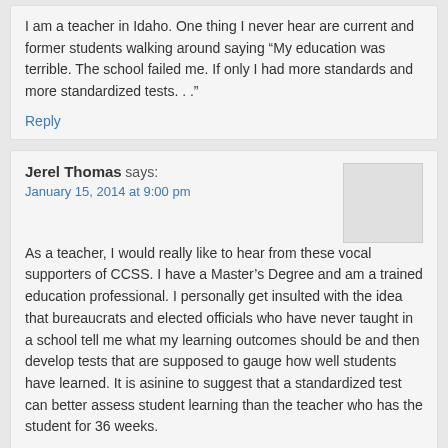I am a teacher in Idaho. One thing I never hear are current and former students walking around saying “My education was terrible. The school failed me. If only I had more standards and more standardized tests. . .”
Reply
Jerel Thomas says:
January 15, 2014 at 9:00 pm
As a teacher, I would really like to hear from these vocal supporters of CCSS. I have a Master’s Degree and am a trained education professional. I personally get insulted with the idea that bureaucrats and elected officials who have never taught in a school tell me what my learning outcomes should be and then develop tests that are supposed to gauge how well students have learned. It is asinine to suggest that a standardized test can better assess student learning than the teacher who has the student for 36 weeks.
Reply
ExperiencedPatriot says: